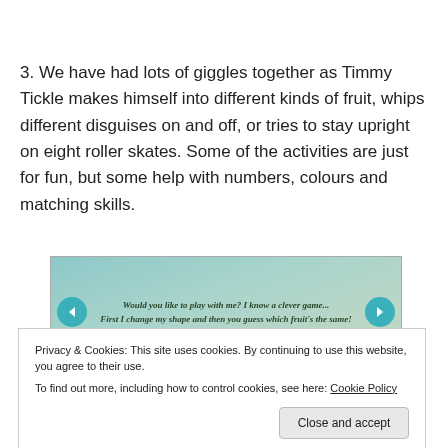3. We have had lots of giggles together as Timmy Tickle makes himself into different kinds of fruit, whips different disguises on and off, or tries to stay upright on eight roller skates. Some of the activities are just for fun, but some help with numbers, colours and matching skills.
[Figure (screenshot): Screenshot of an interactive children's book/app showing navigation arrows (left and right) and text: 'Would you like to play with me? I know a clever game... First I change my shape and then you guess which fruit's the same!' with a teal/blue-green background and a yellow shape at the bottom.]
Privacy & Cookies: This site uses cookies. By continuing to use this website, you agree to their use.
To find out more, including how to control cookies, see here: Cookie Policy